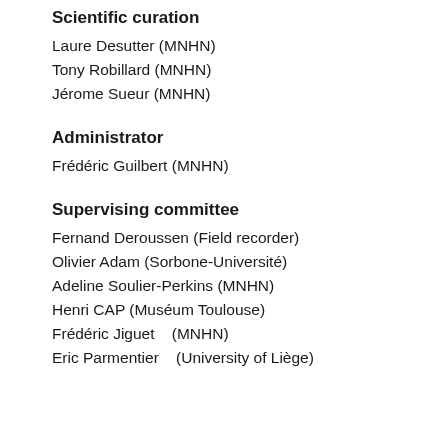Scientific curation
Laure Desutter (MNHN)
Tony Robillard (MNHN)
Jérome Sueur (MNHN)
Administrator
Frédéric Guilbert (MNHN)
Supervising committee
Fernand Deroussen (Field recorder)
Olivier Adam (Sorbone-Université)
Adeline Soulier-Perkins (MNHN)
Henri CAP (Muséum Toulouse)
Frédéric Jiguet    (MNHN)
Eric Parmentier    (University of Liège)